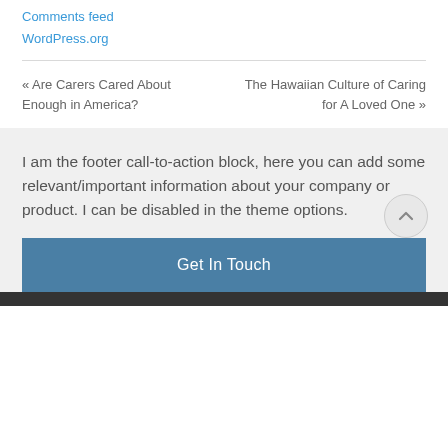Comments feed
WordPress.org
« Are Carers Cared About Enough in America?
The Hawaiian Culture of Caring for A Loved One »
I am the footer call-to-action block, here you can add some relevant/important information about your company or product. I can be disabled in the theme options.
Get In Touch